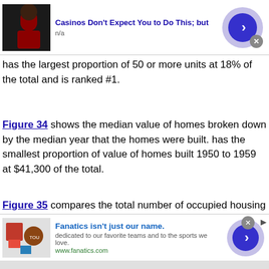[Figure (other): Advertisement banner: Casinos Don't Expect You to Do This; but, n/a, with thumbnail image of person and blue arrow button]
has the largest proportion of 50 or more units at 18% of the total and is ranked #1.
Figure 34 shows the median value of homes broken down by the median year that the homes were built. has the smallest proportion of value of homes built 1950 to 1959 at $41,300 of the total.
Figure 35 compares the total number of occupied housing units to vacant housing units. This analysis can be used to understand any housing shortage in the community. it has the
[Figure (other): Advertisement banner: Fanatics isn't just our name. dedicated to our favorite teams and to the sports we love. www.fanatics.com, with sports merchandise thumbnail and blue arrow button]